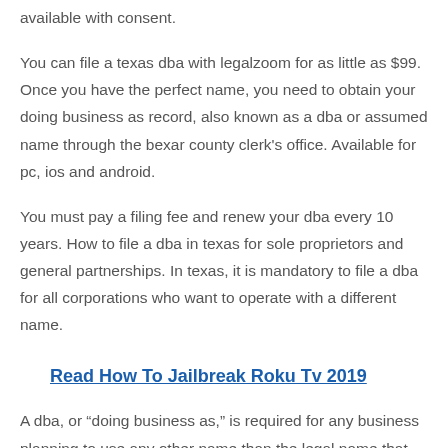available with consent.
You can file a texas dba with legalzoom for as little as $99. Once you have the perfect name, you need to obtain your doing business as record, also known as a dba or assumed name through the bexar county clerk's office. Available for pc, ios and android.
You must pay a filing fee and renew your dba every 10 years. How to file a dba in texas for sole proprietors and general partnerships. In texas, it is mandatory to file a dba for all corporations who want to operate with a different name.
Read  How To Jailbreak Roku Tv 2019
A dba, or “doing business as,” is required for any business planning to use any other name than the legal name that was filed with the irs. “doing business as,” abbreviated to just dba, is also